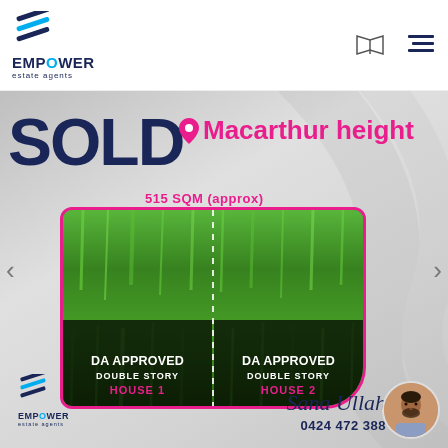[Figure (logo): Empower Estate Agents logo with diagonal stripe icon in navy and cyan]
[Figure (illustration): Navigation icons: map/book icon and hamburger/list icon in header]
[Figure (photo): Sold property banner with silver gradient background showing 'SOLD' text, Macarthur Height location, 515 SQM (approx), two DA approved double story houses on green grass lot with pink border, agent signature Sana Ullah, phone 0424 472 388, and Empower Estate Agents logo]
SOLD
Macarthur height
515 SQM (approx)
DA APPROVED DOUBLE STORY HOUSE 1
DA APPROVED DOUBLE STORY HOUSE 2
Sana Ullah
0424 472 388